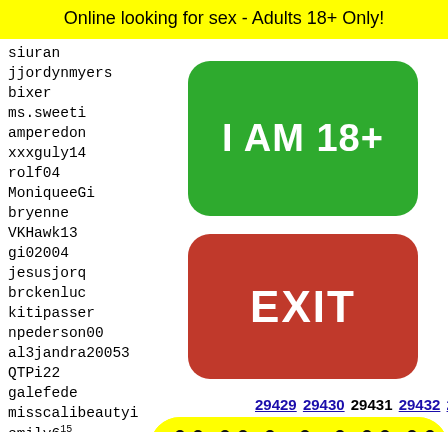Online looking for sex - Adults 18+ Only!
siuran
jjordynmyers
bixer
ms.sweeti
amperedon
xxxguly14
rolf04
MoniqueeGi
bryenne
VKHawk13
gi02004
jesusjorq
brckenluc
kitipasser
npederson00
al3jandra20053
QTPi22
galefede
misscalibeautyi
emily615
ludovi
mspret
miamii
andrva
chuni
nandad
[Figure (other): Green button with white text reading 'I AM 18+']
[Figure (other): Red button with white text reading 'EXIT']
29429 29430 29431 29432 29433
[Figure (other): Snapchat ghost logo on yellow background with black dots pattern and person silhouette]